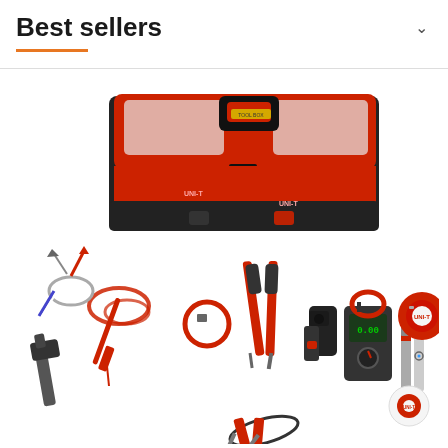Best sellers
[Figure (photo): A red and black UNI-T branded toolbox with lid open showing organizer compartments, surrounded by various tools including a hammer, screwdrivers, clamp meter, infrared thermometer, pipe cutter, test leads with alligator clips, utility knife, tape measure, electrical tape, pliers, and a digital multimeter — all in red and black color scheme.]